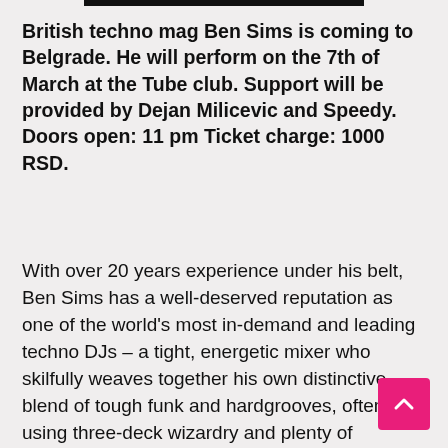British techno mag Ben Sims is coming to Belgrade. He will perform on the 7th of March at the Tube club. Support will be provided by Dejan Milicevic and Speedy. Doors open: 11 pm Ticket charge: 1000 RSD.
With over 20 years experience under his belt, Ben Sims has a well-deserved reputation as one of the world's most in-demand and leading techno DJs – a tight, energetic mixer who skilfully weaves together his own distinctive blend of tough funk and hardgrooves, often using three-deck wizardry and plenty of dexterity. From early formative days earning his stripes spinning hip hop, house and rave on pirate radio, and at parties around Essex and East London, through the 90's as an ever more in demand DJ, and on into the new millennium as a label boss, producer and